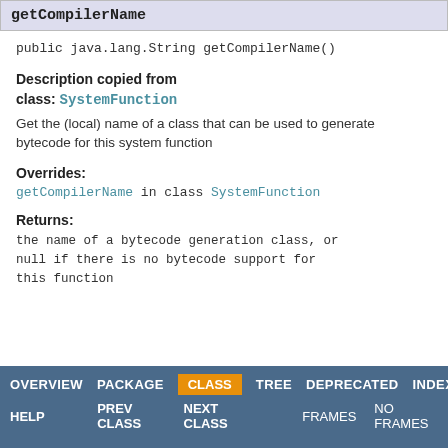getCompilerName
public java.lang.String getCompilerName()
Description copied from class: SystemFunction
Get the (local) name of a class that can be used to generate bytecode for this system function
Overrides:
getCompilerName in class SystemFunction
Returns:
the name of a bytecode generation class, or null if there is no bytecode support for this function
OVERVIEW  PACKAGE  CLASS  TREE  DEPRECATED  INDEX  HELP  PREV CLASS  NEXT CLASS  FRAMES  NO FRAMES